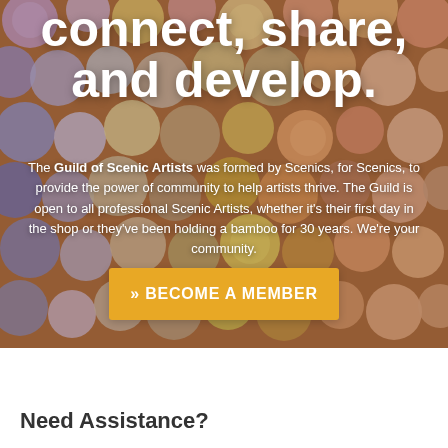[Figure (photo): Background photo of many paint jar lids and cups in various colors (purples, oranges, yellows, greens, pinks) scattered on a wooden surface.]
connect, share, and develop.
The Guild of Scenic Artists was formed by Scenics, for Scenics, to provide the power of community to help artists thrive. The Guild is open to all professional Scenic Artists, whether it's their first day in the shop or they've been holding a bamboo for 30 years. We're your community.
» BECOME A MEMBER
Need Assistance?